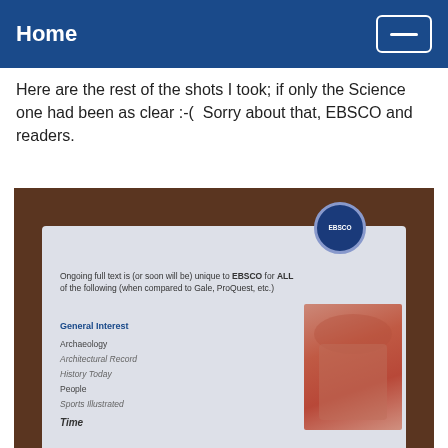Home
Here are the rest of the shots I took; if only the Science one had been as clear :-(  Sorry about that, EBSCO and readers.
[Figure (photo): A photograph of a printed slide or brochure on a wooden surface. The slide states: 'Ongoing full text is (or soon will be) unique to EBSCO for ALL of the following (when compared to Gale, ProQuest, etc.)' with categories listed: General Interest, Archaeology, Architectural Record, History Today, People, Sports Illustrated, Time. An EBSCO logo circle appears in the top right. A blurred face/photo is partially visible on the right side of the slide.]